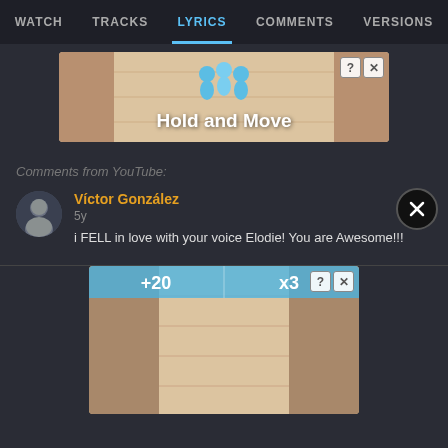WATCH  TRACKS  LYRICS  COMMENTS  VERSIONS
[Figure (screenshot): Advertisement banner: Hold and Move game with blue character figures, on a wooden-floor-like background]
[Figure (screenshot): Close button circle (X)]
Comments from YouTube:
[Figure (photo): Avatar photo of commenter Víctor González]
Víctor González
5y

i FELL in love with your voice Elodie! You are Awesome!!!
[Figure (screenshot): Advertisement banner: bowling lane game with +20 and x3 score indicators]